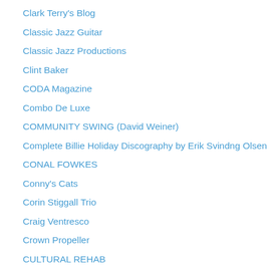Clark Terry's Blog
Classic Jazz Guitar
Classic Jazz Productions
Clint Baker
CODA Magazine
Combo De Luxe
COMMUNITY SWING (David Weiner)
Complete Billie Holiday Discography by Erik Svindng Olsen
CONAL FOWKES
Conny's Cats
Corin Stiggall Trio
Craig Ventresco
Crown Propeller
CULTURAL REHAB
Cynthia Sayer
Dan Block Music
Dan Levinson
Dan Zemelman
Dance To The Music
Dave Frishberg